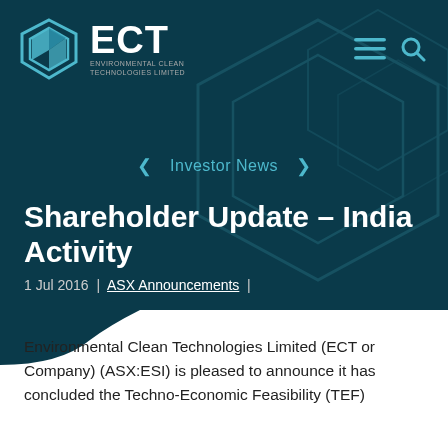ECT Environmental Clean Technologies Limited
Investor News
Shareholder Update - India Activity
1 Jul 2016  |  ASX Announcements  |
Environmental Clean Technologies Limited (ECT or Company) (ASX:ESI) is pleased to announce it has concluded the Techno-Economic Feasibility (TEF)